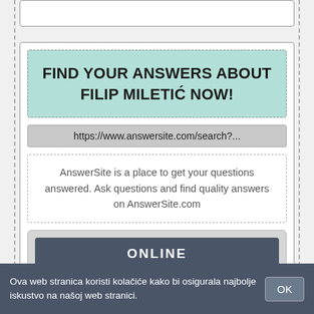[Figure (screenshot): Partial top card from a web page UI]
FIND YOUR ANSWERS ABOUT FILIP MILETIĆ NOW!
https://www.answersite.com/search?...
AnswerSite is a place to get your questions answered. Ask questions and find quality answers on AnswerSite.com
ONLINE
Ova web stranica koristi kolačiće kako bi osigurala najbolje iskustvo na našoj web stranici.